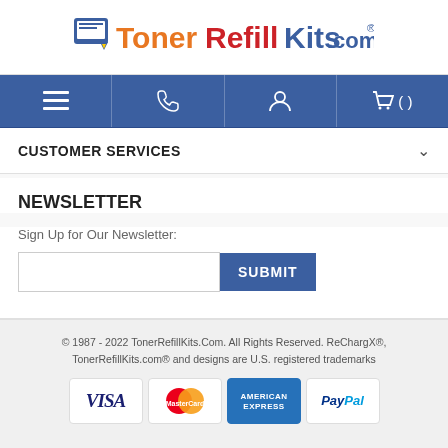[Figure (logo): TonerRefillKits.com logo with pencil/printer icon, stylized text with orange, red, and blue colors]
[Figure (screenshot): Navigation bar with four icons: hamburger menu, phone, user account, and shopping cart with empty parentheses]
CUSTOMER SERVICES
NEWSLETTER
Sign Up for Our Newsletter:
© 1987 - 2022 TonerRefillKits.Com. All Rights Reserved. ReChargX®, TonerRefillKits.com® and designs are U.S. registered trademarks
[Figure (other): Payment method logos: VISA, MasterCard, American Express, PayPal]